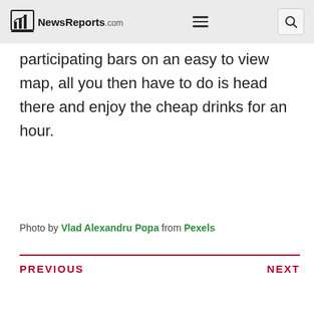NewsReports.com
participating bars on an easy to view map, all you then have to do is head there and enjoy the cheap drinks for an hour.
Photo by Vlad Alexandru Popa from Pexels
PREVIOUS   NEXT